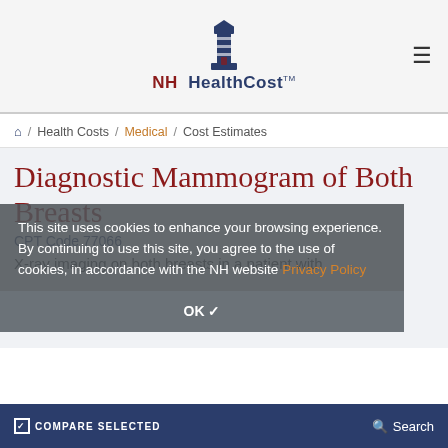[Figure (logo): NH HealthCost lighthouse logo with text 'NH HealthCost TM']
⌂ / Health Costs / Medical / Cost Estimates
Diagnostic Mammogram of Both Breasts
CPT Code 77066
X-ray imaging on both breasts in a patient with
This site uses cookies to enhance your browsing experience. By continuing to use this site, you agree to the use of cookies, in accordance with the NH website Privacy Policy
OK ✓
☑ COMPARE SELECTED
Search